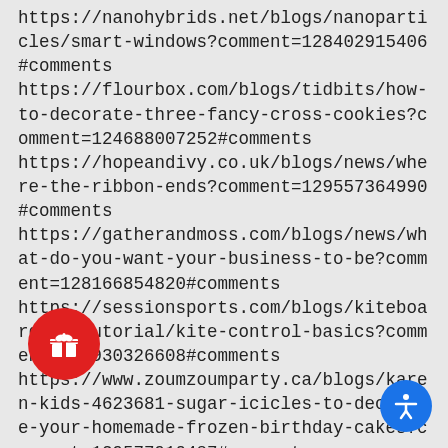https://nanohybrids.net/blogs/nanoparticles/smart-windows?comment=128402915406#comments
https://flourbox.com/blogs/tidbits/how-to-decorate-three-fancy-cross-cookies?comment=124688007252#comments
https://hopeandivy.co.uk/blogs/news/where-the-ribbon-ends?comment=129557364990#comments
https://gatherandmoss.com/blogs/news/what-do-you-want-your-business-to-be?comment=128166854820#comments
https://sessionsports.com/blogs/kiteboarding-tutorial/kite-control-basics?comment=124930326608#comments
https://www.zoumzoumparty.ca/blogs/karen-kids-4623681-sugar-icicles-to-decorate-your-homemade-frozen-birthday-cakes?comment=129577910487#comments
[Figure (other): Red circular gift button icon in the bottom left area]
[Figure (other): Blue circular accessibility icon button in the bottom right corner]